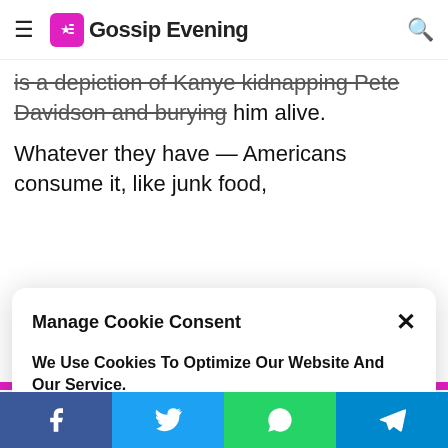Gossip Evening
is a depiction of Kanye kidnapping Pete Davidson and burying him alive.
Whatever they have — Americans consume it, like junk food,
Manage Cookie Consent
We Use Cookies To Optimize Our Website And Our Service.
Accept
Cookie Policy
It is more than likely that many of you know their story.
They got married, had four children, and somewhere along the way Kanye started displaying more and more erratic behavior